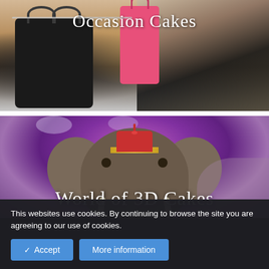[Figure (photo): Photo showing decorative cakes shaped like designer handbags (black Chanel bag, pink bag) with a person working on a cake in the background]
Occasion Cakes
[Figure (photo): Photo of a chocolate elephant head cake with circus hat decoration, set against a pink/purple lit background]
World of 3D Cakes
This websites use cookies. By continuing to browse the site you are agreeing to our use of cookies.
✓ Accept
More information